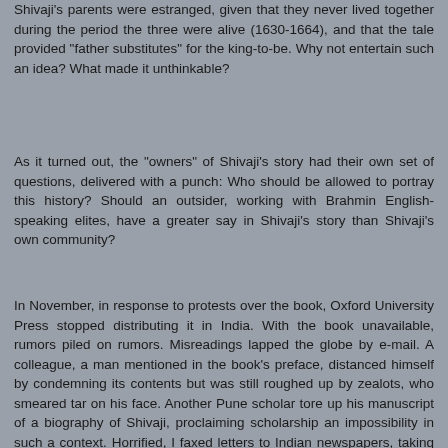Shivaji's parents were estranged, given that they never lived together during the period the three were alive (1630-1664), and that the tale provided "father substitutes" for the king-to-be. Why not entertain such an idea? What made it unthinkable?
As it turned out, the "owners" of Shivaji's story had their own set of questions, delivered with a punch: Who should be allowed to portray this history? Should an outsider, working with Brahmin English-speaking elites, have a greater say in Shivaji's story than Shivaji's own community?
In November, in response to protests over the book, Oxford University Press stopped distributing it in India. With the book unavailable, rumors piled on rumors. Misreadings lapped the globe by e-mail. A colleague, a man mentioned in the book's preface, distanced himself by condemning its contents but was still roughed up by zealots, who smeared tar on his face. Another Pune scholar tore up his manuscript of a biography of Shivaji, proclaiming scholarship an impossibility in such a context. Horrified, I faxed letters to Indian newspapers, taking full responsibility for my book and apologizing for causing offence.